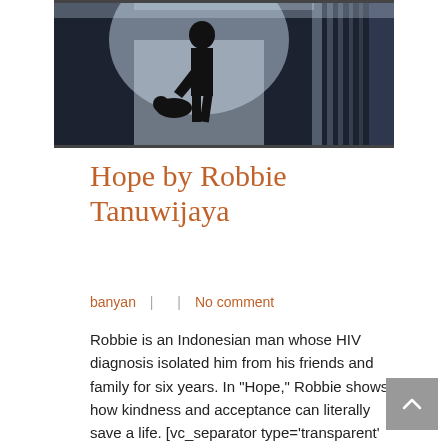[Figure (photo): A silhouette of a person bending down toward another figure or object on the ground, in a dark indoor or outdoor setting with light in the background.]
Hope by Robbie Tanuwijaya
banyan   |     |   No comment
Robbie is an Indonesian man whose HIV diagnosis isolated him from his friends and family for six years. In "Hope," Robbie shows how kindness and acceptance can literally save a life. [vc_separator type='transparent' position='center' color='' thickness='' up='10' down='10'] [vc_separator type='normal' position='center' color='#cccccc' thickness='1'